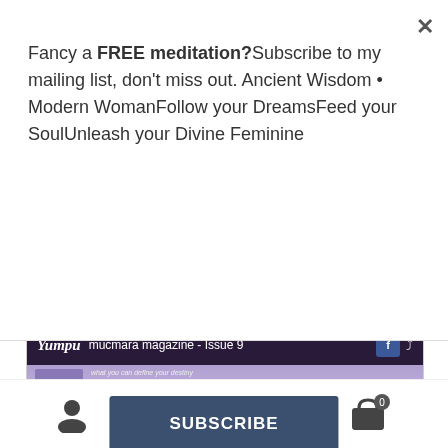Fancy a FREE meditation?Subscribe to my mailing list, don't miss out. Ancient Wisdom • Modern WomanFollow your DreamsFeed your SoulUnleash your Divine Feminine
[Figure (screenshot): A subscribe button on a dark blue background with uppercase text 'SUBSCRIBE']
[Figure (screenshot): Browser screenshot showing yumpu.com with mucmara magazine - Issue 9 page]
[Figure (infographic): Bottom navigation bar with person icon, search icon, and shopping cart icon with badge showing 0]